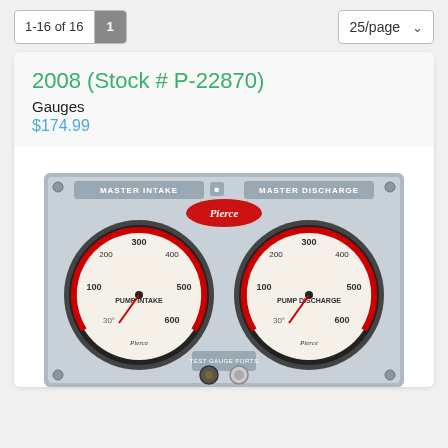1-16 of 16  1   25/page
2008 (Stock # P-22870)
Gauges
$174.99
[Figure (photo): Two circular pressure gauges mounted on a metal panel. Left gauge labeled PUMP INTAKE under MASTER INTAKE header, right gauge labeled PUMP DISCHARGE under MASTER DISCHARGE header. Both gauges show scale from 30 to 600. Pierce brand logo visible. Panel includes test gauge ports at bottom.]